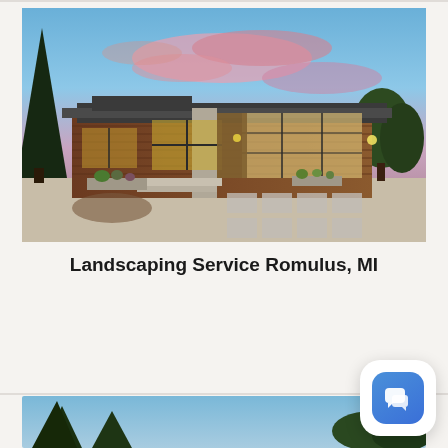[Figure (photo): Modern ranch-style house with wood siding, large glass windows, two-car garage, landscaped front yard with planters, concrete driveway with stepping stones, tall evergreen trees on the left, dramatic pink and blue sunset sky in background.]
Landscaping Service Romulus, MI
[Figure (photo): Partial view of another house exterior with trees against a blue sky, shown cropped at the bottom of the page.]
[Figure (screenshot): Blue rounded square chat/messaging button icon in the bottom right corner.]